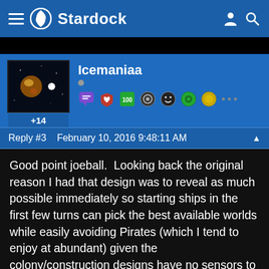[Figure (logo): Stardock website navigation bar with hamburger menu, Stardock logo, and user/search icons]
[Figure (photo): User avatar showing space/galaxy image with orange and blue elements, score +14 shown below]
Icemaniaa
[Figure (infographic): Row of badge/achievement icons for user Icemaniaa]
Reply #3   February 10, 2016 9:48:11 AM
Good point joeball.  Looking back the original reason I had that design was to reveal as much possible immediately so starting ships in the first few turns can pick the best available worlds while easily avoiding Pirates (which I tend to enjoy at abundant) given the colony/construction designs have no sensors to minimise cost.  With the custom race here it looks like I can fit 8 sensors (sensor range of 19 instead of 27) with 3 hyperdrive-plus modules (movement speed of 10 rather than 4) and a range module (19 ship range instead of 11)